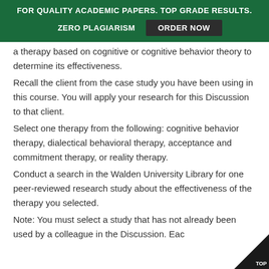FOR QUALITY ACADEMIC PAPERS. TOP GRADE RESULTS. ZERO PLAGIARISM  ORDER NOW
a therapy based on cognitive or cognitive behavior theory to determine its effectiveness.
Recall the client from the case study you have been using in this course. You will apply your research for this Discussion to that client.
Select one therapy from the following: cognitive behavior therapy, dialectical behavioral therapy, acceptance and commitment therapy, or reality therapy.
Conduct a search in the Walden University Library for one peer-reviewed research study about the effectiveness of the therapy you selected.
Note: You must select a study that has not already been used by a colleague in the Discussion. Eac